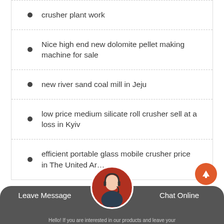crusher plant work
Nice high end new dolomite pellet making machine for sale
new river sand coal mill in Jeju
low price medium silicate roll crusher sell at a loss in Kyiv
efficient portable glass mobile crusher price in The United Ar…
Send Enquiry
Leave Message   Chat Online
Hello! If you are interested in our products and leave your